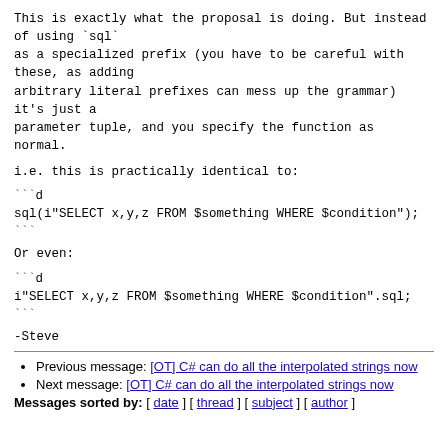This is exactly what the proposal is doing. But instead of using `sql` as a specialized prefix (you have to be careful with these, as adding arbitrary literal prefixes can mess up the grammar) it's just a parameter tuple, and you specify the function as normal.
i.e. this is practically identical to:
```d
sql(i"SELECT x,y,z FROM $something WHERE $condition");
```
Or even:
```d
i"SELECT x,y,z FROM $something WHERE $condition".sql;
```
-Steve
Previous message: [OT] C# can do all the interpolated strings now
Next message: [OT] C# can do all the interpolated strings now
Messages sorted by: [ date ] [ thread ] [ subject ] [ author ]